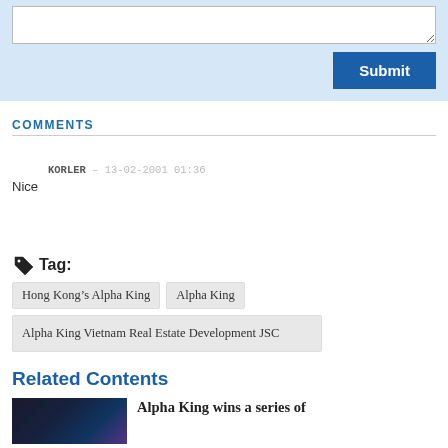[Figure (screenshot): Comment submission form area with a text area and a Submit button on a light blue background]
COMMENTS
KORLER – 13-02-2001 01:36
Nice
Tag: Hong Kong's Alpha King  Alpha King  Alpha King Vietnam Real Estate Development JSC
Related Contents
Alpha King wins a series of